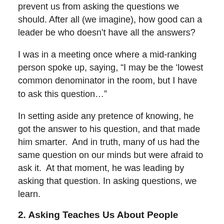prevent us from asking the questions we should. After all (we imagine), how good can a leader be who doesn't have all the answers?
I was in a meeting once where a mid-ranking person spoke up, saying, “I may be the ‘lowest common denominator in the room, but I have to ask this question…”
In setting aside any pretence of knowing, he got the answer to his question, and that made him smarter.  And in truth, many of us had the same question on our minds but were afraid to ask it.  At that moment, he was leading by asking that question. In asking questions, we learn.
2. Asking Teaches Us About People
Even as they are answering our question, we are learning more about the person with whom we are talking:  how much do they really know? How well they...